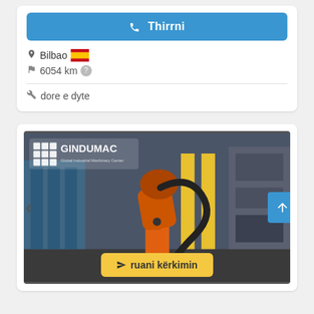Thirrni
Bilbao 🇪🇸
6054 km
dore e dyte
[Figure (photo): Industrial robot arm (orange KUKA-style) in a factory setting, with GINDUMAC logo overlay and 'ruani kërkimin' save search button]
ruani kërkimin